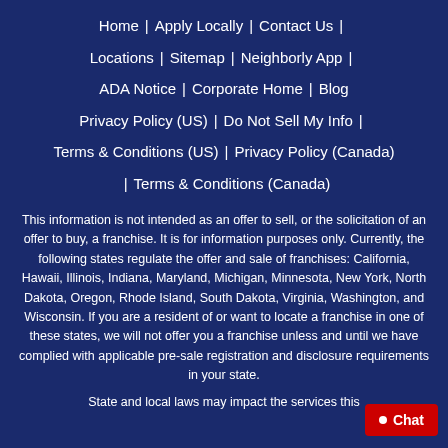Home | Apply Locally | Contact Us | Locations | Sitemap | Neighborly App | ADA Notice | Corporate Home | Blog | Privacy Policy (US) | Do Not Sell My Info | Terms & Conditions (US) | Privacy Policy (Canada) | Terms & Conditions (Canada)
This information is not intended as an offer to sell, or the solicitation of an offer to buy, a franchise. It is for information purposes only. Currently, the following states regulate the offer and sale of franchises: California, Hawaii, Illinois, Indiana, Maryland, Michigan, Minnesota, New York, North Dakota, Oregon, Rhode Island, South Dakota, Virginia, Washington, and Wisconsin. If you are a resident of or want to locate a franchise in one of these states, we will not offer you a franchise unless and until we have complied with applicable pre-sale registration and disclosure requirements in your state.
State and local laws may impact the services this